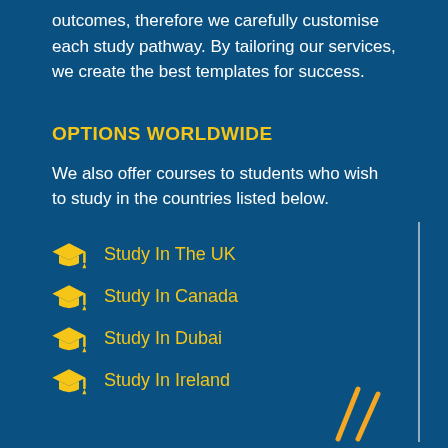outcomes, therefore we carefully customise each study pathway. By tailoring our services, we create the best templates for success.
OPTIONS WORLDWIDE
We also offer courses to students who wish to study in the countries listed below.
Study In The UK
Study In Canada
Study In Dubai
Study In Ireland